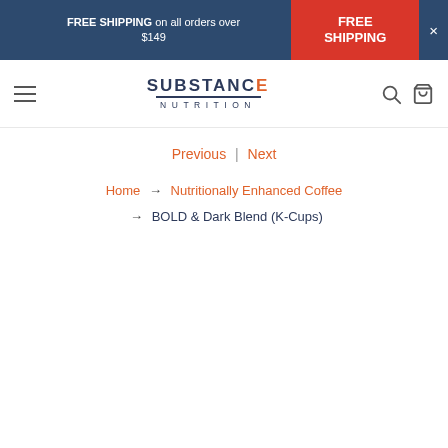FREE SHIPPING on all orders over $149
FREE SHIPPING
[Figure (logo): Substance Nutrition logo with hamburger menu, search icon, and bag icon]
Previous | Next
Home → Nutritionally Enhanced Coffee → BOLD & Dark Blend (K-Cups)